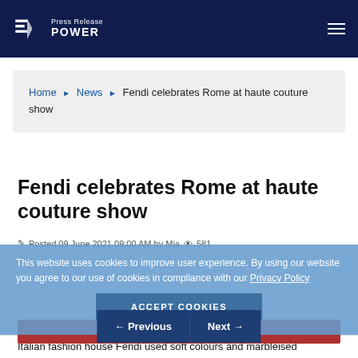Press Release POWER
Home ▶ News ▶ Fendi celebrates Rome at haute couture show
Fendi celebrates Rome at haute couture show
Posted 09 June 2021 09:00 AM by Mia ◉ 581
This website uses cookies to improve user experience. By using our website you agree to our use of cookies in compliance with our Privacy Policy
ACCEPT COOKIES
← Previous   Next →
Italian fashion house Fendi used soft colours and marbleised